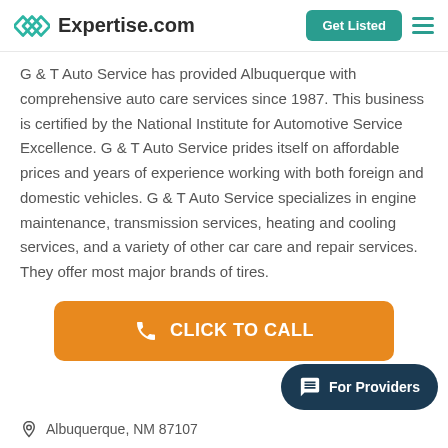Expertise.com — Get Listed
G & T Auto Service has provided Albuquerque with comprehensive auto care services since 1987. This business is certified by the National Institute for Automotive Service Excellence. G & T Auto Service prides itself on affordable prices and years of experience working with both foreign and domestic vehicles. G & T Auto Service specializes in engine maintenance, transmission services, heating and cooling services, and a variety of other car care and repair services. They offer most major brands of tires.
[Figure (other): Orange 'CLICK TO CALL' button with phone icon]
[Figure (other): Dark navy 'For Providers' chat button in bottom right corner]
Albuquerque, NM 87107